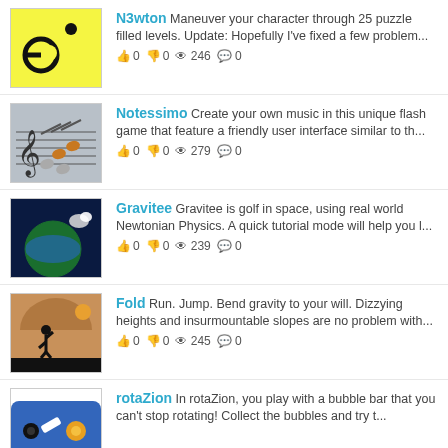N3wton Maneuver your character through 25 puzzle filled levels. Update: Hopefully I've fixed a few problem... 0 0 246 0
Notessimo Create your own music in this unique flash game that feature a friendly user interface similar to th... 0 0 279 0
Gravitee Gravitee is golf in space, using real world Newtonian Physics. A quick tutorial mode will help you l... 0 0 239 0
Fold Run. Jump. Bend gravity to your will. Dizzying heights and insurmountable slopes are no problem with... 0 0 245 0
rotaZion In rotaZion, you play with a bubble bar that you can't stop rotating! Collect the bubbles and try t...